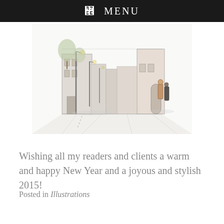ꟷ MENU
[Figure (illustration): A watercolor and ink sketch of a European street scene with buildings, lamp posts, trees, and figures walking along a sidewalk viewed in perspective.]
Wishing all my readers and clients a warm and happy New Year and a joyous and stylish 2015!
Posted in Illustrations